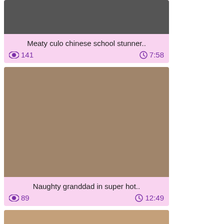[Figure (photo): Video thumbnail - first card, partial view at top]
Meaty culo chinese school stunner..
141  7:58
[Figure (photo): Video thumbnail - second card showing adult content]
Naughty granddad in super hot..
89  12:49
[Figure (photo): Video thumbnail - third card, partial view at bottom]